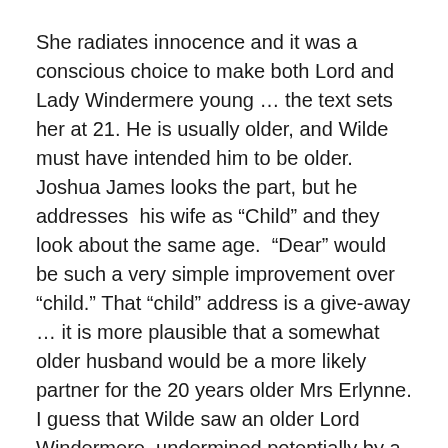She radiates innocence and it was a conscious choice to make both Lord and Lady Windermere young … the text sets her at 21. He is usually older, and Wilde must have intended him to be older. Joshua James looks the part, but he addresses his wife as “Child” and they look about the same age. “Dear” would be such a very simple improvement over “child.” That “child” address is a give-away … it is more plausible that a somewhat older husband would be a more likely partner for the 20 years older Mrs Erlynne. I guess that Wilde saw an older Lord Windermere, undermined potentially by a younger Lord Darlington. Here it is reversed.
Joshua James and Grace Molony are an excellent pairing. In the dullest scenes she manages to find some enlivening and endearing business : the inadvertent snorts are lovely. He comes close to being too handsome but...